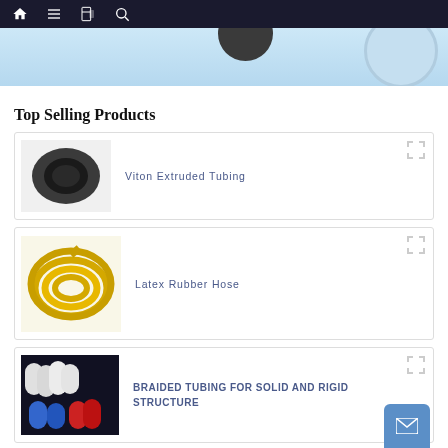[Figure (screenshot): Dark navigation bar with home, menu, book, and search icons]
[Figure (photo): Hero banner image with light blue background showing partial product images]
Top Selling Products
[Figure (photo): Product card: Viton Extruded Tubing - dark grey rubber tube end-on view]
Viton Extruded Tubing
[Figure (photo): Product card: Latex Rubber Hose - coiled yellow rubber hose]
Latex Rubber Hose
[Figure (photo): Product card: Braided Tubing for Solid and Rigid Structure - white, blue, red tubes on black background]
BRAIDED TUBING FOR SOLID AND RIGID STRUCTURE